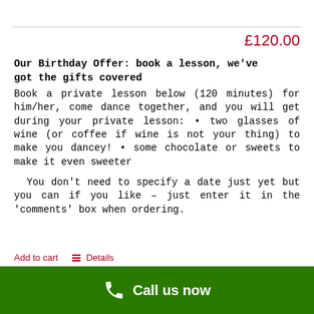£120.00
Our Birthday Offer: book a lesson, we've got the gifts covered
Book a private lesson below (120 minutes) for him/her, come dance together, and you will get during your private lesson: • two glasses of wine (or coffee if wine is not your thing) to make you dancey! • some chocolate or sweets to make it even sweeter
You don't need to specify a date just yet but you can if you like – just enter it in the 'comments' box when ordering.
Add to cart   ☰ Details
Call us now